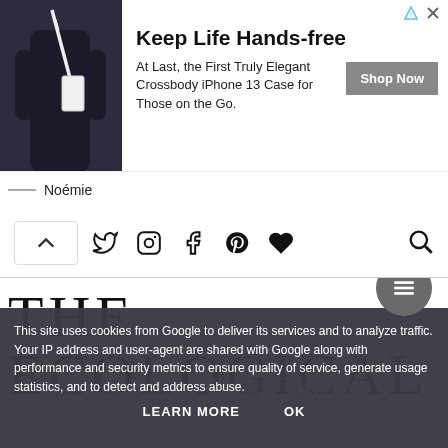[Figure (screenshot): Advertisement banner for Noémie crossbody iPhone case. Shows a woman wearing a black dress with a white crossbody phone case. Text: 'Keep Life Hands-free', 'At Last, the First Truly Elegant Crossbody iPhone 13 Case for Those on the Go.', 'Shop Now' button, Noémie brand name.]
[Figure (screenshot): Navigation bar with up-arrow button, social media icons (Twitter, Instagram, Facebook, Pinterest, heart/favorite), and a search icon.]
THE ECOLOGICAL
GREENER LIVING, CLEAN BEAUTY, AND NATURAL WELLBEING OPTIONS FROM A PASSIONATE EXPAT. ARE YOU READY TO DISCOVER ALL THINGS ECO ON THIS ETHICAL JOURNEY?
This site uses cookies from Google to deliver its services and to analyze traffic. Your IP address and user-agent are shared with Google along with performance and security metrics to ensure quality of service, generate usage statistics, and to detect and address abuse.
LEARN MORE   OK
The Ultimate Ethical Christmas Gift Guidel...